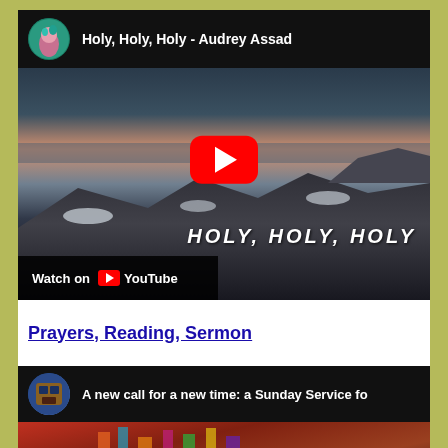[Figure (screenshot): YouTube video embed thumbnail for 'Holy, Holy, Holy - Audrey Assad' showing a dark coastal landscape with rocks and ocean at sunset, a red YouTube play button in the center, 'HOLY, HOLY, HOLY' text overlay at bottom right, and a 'Watch on YouTube' bar at the bottom left. Channel avatar shows a green-haired figure.]
Prayers, Reading, Sermon
[Figure (screenshot): YouTube video embed thumbnail for 'A new call for a new time: a Sunday Service fo...' showing colorful festival/event imagery with date '15 November' overlay. Church/building avatar icon shown.]